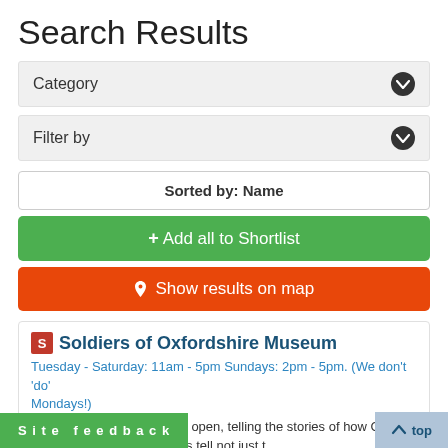Search Results
Category
Filter by
Sorted by: Name
+ Add all to Shortlist
Show results on map
Soldiers of Oxfordshire Museum
Tuesday - Saturday: 11am - 5pm Sundays: 2pm - 5pm. (We don’t ‘do’ Mondays!)
The SOFO Museum is now open, telling the stories of how Conflict nty. Our permanent displays tell not just t uing insights into this military county; the
Site feedback
top